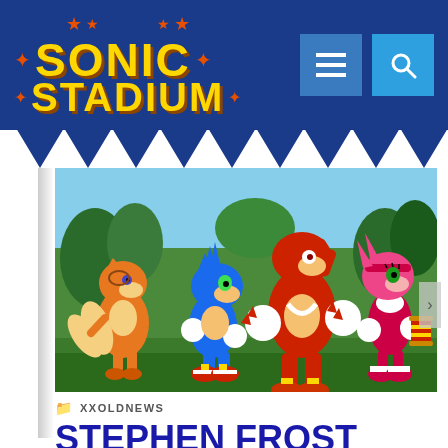Sonic Stadium
[Figure (photo): Hero image showing Sonic Boom characters: Tails (two-tailed fox), Sonic (blue hedgehog), Knuckles (large red echidna), and Amy (pink hedgehog) standing in a jungle/tropical environment]
XXOLDNEWS
STEPHEN FROST SPEAKS ABOUT WHY THINGS HAVE BEEN QUIET REGARDING SONIC